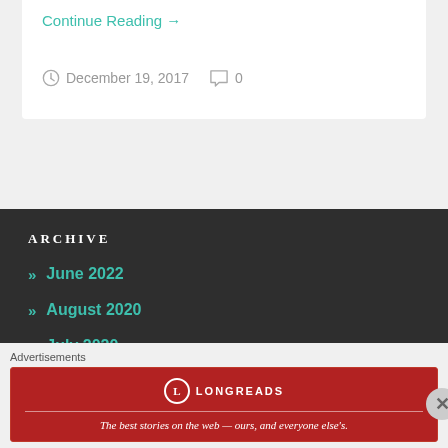Continue Reading →
December 19, 2017  0
ARCHIVE
» June 2022
» August 2020
» July 2020
Advertisements
[Figure (other): Longreads advertisement banner: red background with Longreads logo and text 'The best stories on the web — ours, and everyone else's.']